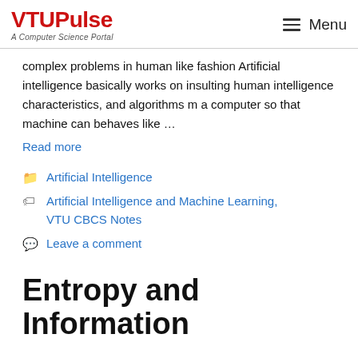VTUPulse — A Computer Science Portal | Menu
complex problems in human like fashion Artificial intelligence basically works on insulting human intelligence characteristics, and algorithms m a computer so that machine can behaves like …
Read more
Artificial Intelligence
Artificial Intelligence and Machine Learning, VTU CBCS Notes
Leave a comment
Entropy and Information